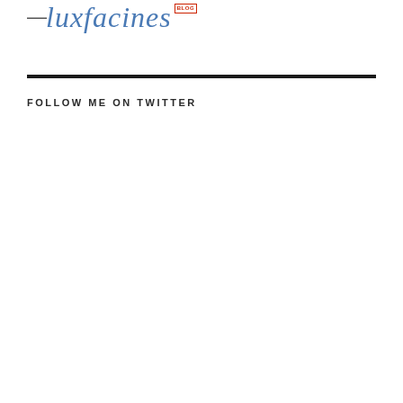[Figure (logo): luxfacines blog logo with italic blue text and red badge]
FOLLOW ME ON TWITTER